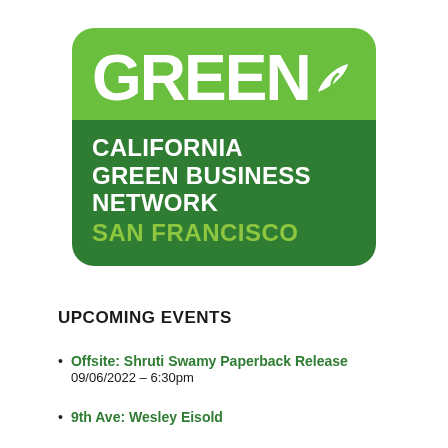[Figure (logo): California Green Business Network San Francisco logo — rounded square with light green top section showing 'GREEN' in large white bold text with a leaf icon, and dark green bottom section showing 'CALIFORNIA GREEN BUSINESS NETWORK' in white bold text and 'SAN FRANCISCO' in bright green bold text.]
UPCOMING EVENTS
Offsite: Shruti Swamy Paperback Release 09/06/2022 – 6:30pm
9th Ave: Wesley Eisold